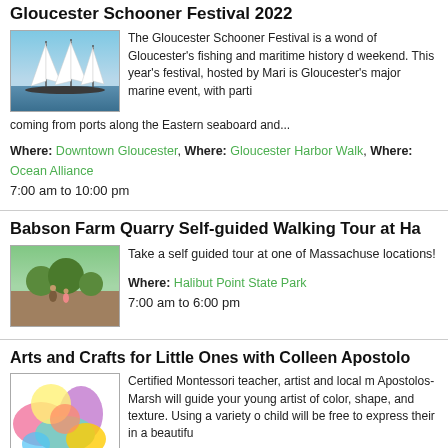Gloucester Schooner Festival 2022
[Figure (photo): Tall sailing schooner ships with white sails on water]
The Gloucester Schooner Festival is a wond of Gloucester's fishing and maritime history d weekend. This year's festival, hosted by Mari is Gloucester's major marine event, with parti coming from ports along the Eastern seaboard and...
Where: Downtown Gloucester, Where: Gloucester Harbor Walk, Where: Ocean Alliance
7:00 am to 10:00 pm
Babson Farm Quarry Self-guided Walking Tour at Ha
[Figure (photo): People at Babson Farm Quarry outdoor walking area with greenery]
Take a self guided tour at one of Massachuse locations!
Where: Halibut Point State Park
7:00 am to 6:00 pm
Arts and Crafts for Little Ones with Colleen Apostolo
[Figure (photo): Colorful arts and crafts materials with bright colors]
Certified Montessori teacher, artist and local m Apostolos-Marsh will guide your young artist of color, shape, and texture. Using a variety o child will be free to express their in a beautifu socializing and engaging in cooperative play....